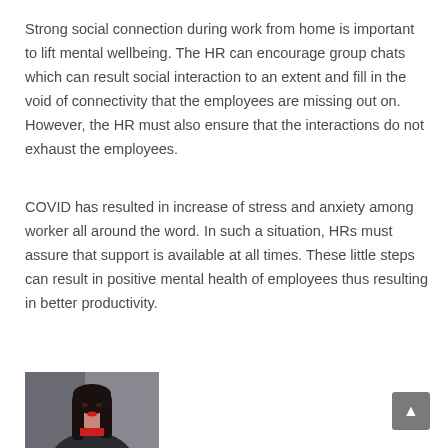Strong social connection during work from home is important to lift mental wellbeing. The HR can encourage group chats which can result social interaction to an extent and fill in the void of connectivity that the employees are missing out on. However, the HR must also ensure that the interactions do not exhaust the employees.
COVID has resulted in increase of stress and anxiety among worker all around the word. In such a situation, HRs must assure that support is available at all times. These little steps can result in positive mental health of employees thus resulting in better productivity.
[Figure (photo): Portrait photo of a woman with long dark hair wearing a dark jacket, against a grey background]